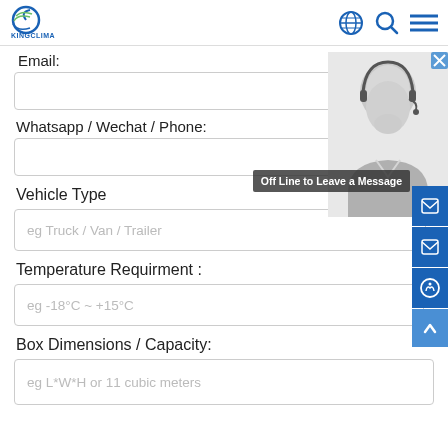KINGCLIMA
Email:
Whatsapp / Wechat / Phone:
Vehicle Type
eg Truck / Van / Trailer
Temperature Requirment :
eg -18°C ~ +15°C
Box Dimensions / Capacity:
eg L*W*H  or  11 cubic meters